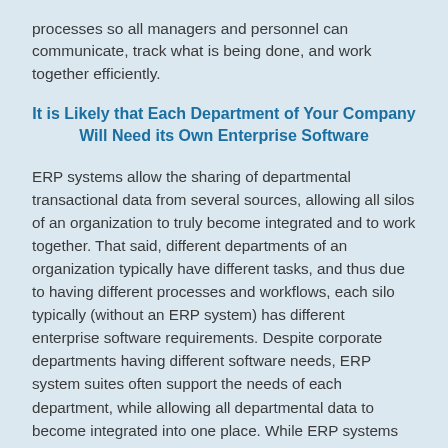processes so all managers and personnel can communicate, track what is being done, and work together efficiently.
It is Likely that Each Department of Your Company Will Need its Own Enterprise Software
ERP systems allow the sharing of departmental transactional data from several sources, allowing all silos of an organization to truly become integrated and to work together. That said, different departments of an organization typically have different tasks, and thus due to having different processes and workflows, each silo typically (without an ERP system) has different enterprise software requirements. Despite corporate departments having different software needs, ERP system suites often support the needs of each department, while allowing all departmental data to become integrated into one place. While ERP systems often meet each department's needs in a general way, it is not atypical for